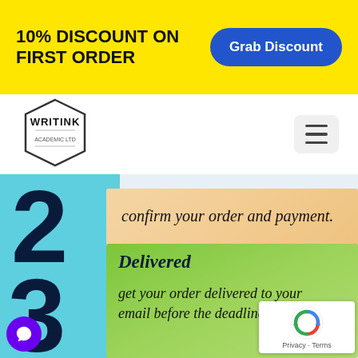10% DISCOUNT ON FIRST ORDER
[Figure (logo): WRITINK logo in hexagon shape]
confirm your order and payment.
Delivered
get your order delivered to your email before the deadline.